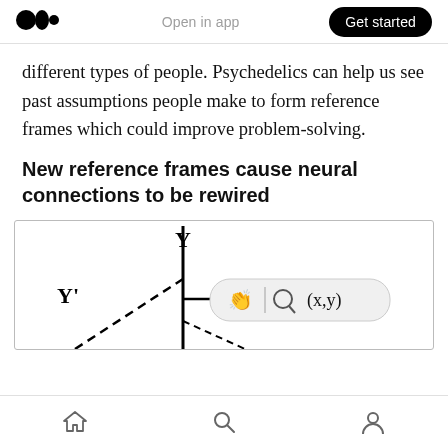Medium logo | Open in app | Get started
different types of people. Psychedelics can help us see past assumptions people make to form reference frames which could improve problem-solving.
New reference frames cause neural connections to be rewired
[Figure (illustration): Mathematical diagram showing coordinate axes with Y axis labeled, Y' axis labeled with dashed line, and a tooltip overlay with icons (applause, speech/search) and text '(x,y)']
Home | Search | Profile navigation icons